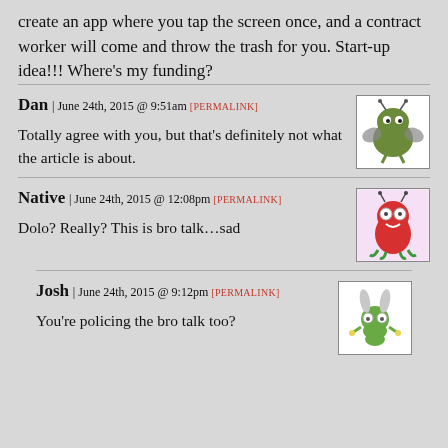create an app where you tap the screen once, and a contract worker will come and throw the trash for you. Start-up idea!!! Where's my funding?
Dan | June 24th, 2015 @ 9:51am [PERMALINK]
Totally agree with you, but that's definitely not what the article is about.
[Figure (illustration): Cartoon avatar of a green blob creature with antennae on a white background]
Native | June 24th, 2015 @ 12:08pm [PERMALINK]
Dolo? Really? This is bro talk…sad
[Figure (illustration): Cartoon avatar of a red ghost-like creature with antennae on a pink background]
Josh | June 24th, 2015 @ 9:12pm [PERMALINK]
You're policing the bro talk too?
[Figure (illustration): Cartoon avatar of a green frog-like creature with bunny ears on a white background]